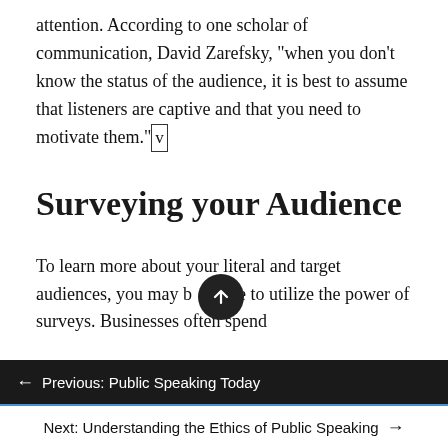attention. According to one scholar of communication, David Zarefsky, “when you don’t know the status of the audience, it is best to assume that listeners are captive and that you need to motivate them.”[v]
Surveying your Audience
To learn more about your literal and target audiences, you may be able to utilize the power of surveys. Businesses often spend
← Previous: Public Speaking Today
Next: Understanding the Ethics of Public Speaking →